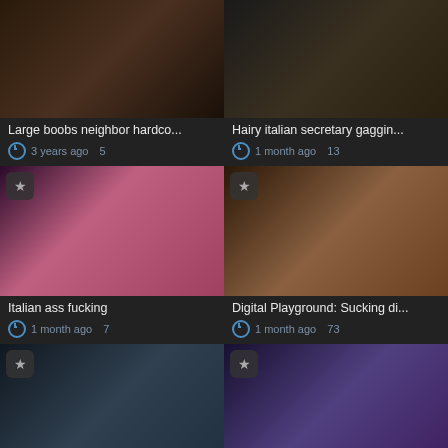[Figure (photo): Video thumbnail 1 - Large boobs neighbor hardco...]
Large boobs neighbor hardco...
3 years ago  5
[Figure (photo): Video thumbnail 2 - Hairy italian secretary gaggin...]
Hairy italian secretary gaggin...
1 month ago  13
[Figure (photo): Video thumbnail 3 - Italian ass fucking]
Italian ass fucking
1 month ago  7
[Figure (photo): Video thumbnail 4 - Digital Playground: Sucking di...]
Digital Playground: Sucking di...
1 month ago  73
[Figure (photo): Video thumbnail 5 - Adorable italian art fucking]
Adorable italian art fucking
[Figure (photo): Video thumbnail 6 - Italian teen chick BDSM]
Italian teen chick BDSM